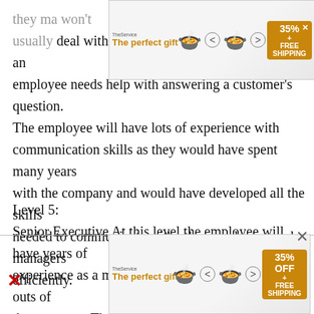they may won't usually deal with customers but will be available if an employee needs help with answering a customer's question. The employee will have lots of experience with communication skills as they would have spent many years with the company and would have developed all the skills needed to communicate with other employees and managers efficiently.
Level 5:
Senior Executive At this level the employee will have years of experience as a manager and will know the ins and outs of the company. The employee will be able to work within a team very efficiently, as they need to communicate with other executives, managers and supervisors. A senior executive
[Figure (other): Advertisement banner for 'The perfect gift' showing a bowl of food, navigation arrows, and 35% + FREE SHIPPING badge]
[Figure (other): Second advertisement banner at bottom for 'The perfect gift' showing a bowl of food, navigation arrows, and 35% OFF + FREE SHIPPING badge]